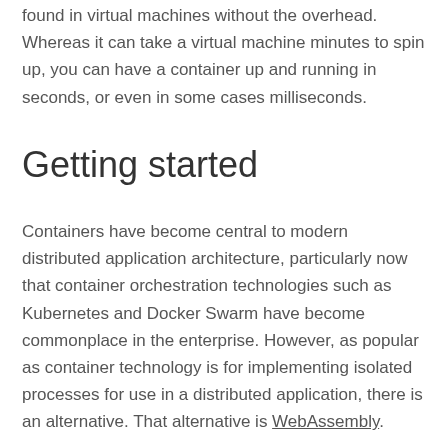found in virtual machines without the overhead. Whereas it can take a virtual machine minutes to spin up, you can have a container up and running in seconds, or even in some cases milliseconds.
Getting started
Containers have become central to modern distributed application architecture, particularly now that container orchestration technologies such as Kubernetes and Docker Swarm have become commonplace in the enterprise. However, as popular as container technology is for implementing isolated processes for use in a distributed application, there is an alternative. That alternative is WebAssembly.